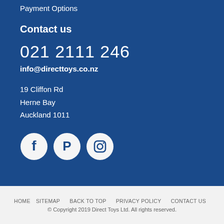Payment Options
Contact us
021 2111 246
info@directtoys.co.nz
19 Cliffon Rd
Herne Bay
Auckland 1011
[Figure (illustration): Three social media icons in white circles: Facebook (f), Pinterest (P), Instagram (camera)]
HOME  SITEMAP  BACK TO TOP  PRIVACY POLICY  CONTACT US
© Copyright 2019 Direct Toys Ltd. All rights reserved.